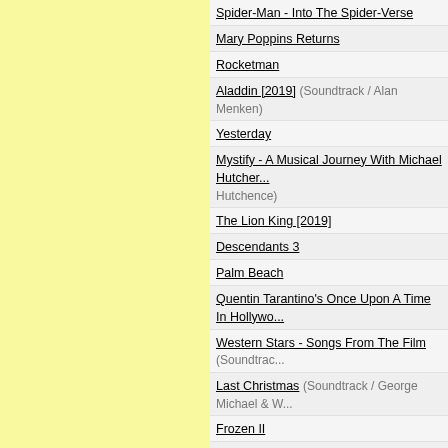Spider-Man - Into The Spider-Verse
Mary Poppins Returns
Rocketman
Aladdin [2019] (Soundtrack / Alan Menken)
Yesterday
Mystify - A Musical Journey With Michael Hutchence (Soundtrack / Michael Hutchence)
The Lion King [2019]
Descendants 3
Palm Beach
Quentin Tarantino's Once Upon A Time In Hollywood
Western Stars - Songs From The Film (Soundtrack / ...)
Last Christmas (Soundtrack / George Michael & W...)
Frozen II
Cats (Soundtrack / Andrew Lloyd Webber)
Star Wars - The Rise Of Skywalker (Soundtrack / ...)
Birds Of Prey
Julie And The Phantoms - Season 1
Us + Them (Soundtrack / Roger Waters)
Bluey: The Album (Soundtrack / Joff Bush)
Music (Soundtrack / Sia)
Fast & Furious 9 - The Fast Saga
Sing 2
Encanto